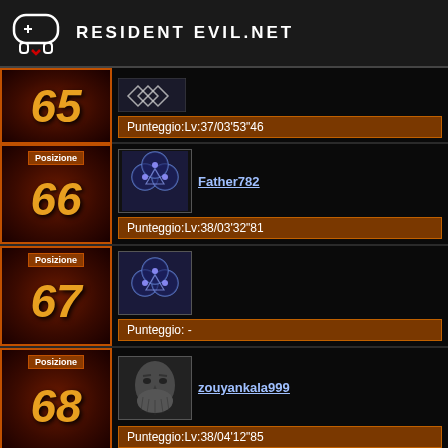RESIDENT EVIL.NET
65 / Punteggio:Lv:37/03'53"46
Posizione 66 / Father782 / Punteggio:Lv:38/03'32"81
Posizione 67 / Punteggio: -
Posizione 68 / zouyankala999 / Punteggio:Lv:38/04'12"85